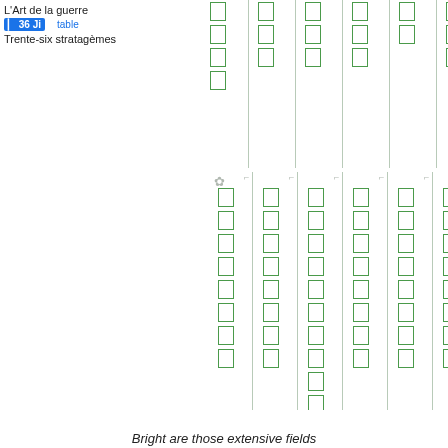L'Art de la guerre
36 Ji  table
Trente-six stratagèmes
[Figure (other): Grid of Chinese characters rendered as green outlined boxes arranged in vertical columns with thin vertical dividing lines, top section]
[Figure (other): Decorative floral/asterisk symbol and grid of Chinese characters rendered as green outlined boxes arranged in vertical columns with thin vertical dividing lines, main section]
Bright are those extensive fields